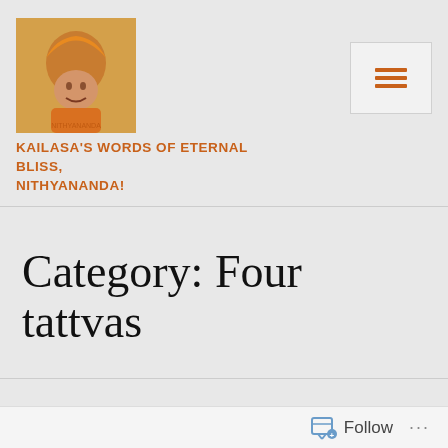[Figure (photo): Portrait photo of a person wearing an orange turban and robes, smiling]
KAILASA'S WORDS OF ETERNAL BLISS, NITHYANANDA!
[Figure (other): Hamburger menu button icon with three horizontal lines]
Category: Four tattvas
BHAGAVADGITA, FOUR TATTVAS, SPIRITUALITY
LEAVE A COMMENT
[Figure (photo): Partial view of a dark textured image, appears to show dreadlocks or braided hair in dark tones]
Follow ...